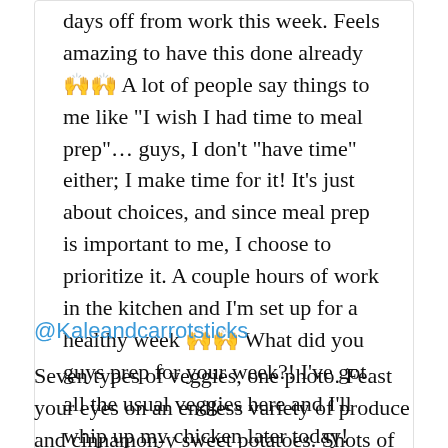days off from work this week. Feels amazing to have this done already 🙌🙌 A lot of people say things to me like "I wish I had time to meal prep"… guys, I don't "have time" either; I make time for it! It's just about choices, and since meal prep is important to me, I choose to prioritize it. A couple hours of work in the kitchen and I'm set up for a healthy week 🙌🙌 What did you guys prep for your week?! I've got all the usual veggies here and I'll whip up my chicken later today! Have a fabulous Monday! 🌿 #iChooseToBeWell
A post shared by Danica (@kaleandcarrotsticks) on May ...
@Kaleandcarrotsticks
Seven types of veggies, one photo. Feast your eyes on an endless variety of produce and cinnamon-y sweet potatoes. Shots of beautiful avocado toast and eggs will leave you looking